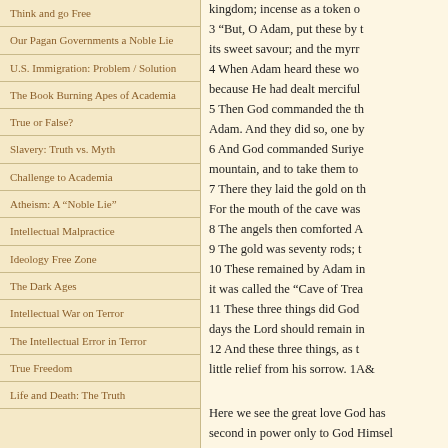Think and go Free
Our Pagan Governments a Noble Lie
U.S. Immigration: Problem / Solution
The Book Burning Apes of Academia
True or False?
Slavery: Truth vs. Myth
Challenge to Academia
Atheism: A “Noble Lie”
Intellectual Malpractice
Ideology Free Zone
The Dark Ages
Intellectual War on Terror
The Intellectual Error in Terror
True Freedom
Life and Death: The Truth
kingdom; incense as a token of
3 “But, O Adam, put these by t
its sweet savour; and the myrr
4 When Adam heard these wo
because He had dealt merciful
5 Then God commanded the th
Adam. And they did so, one by
6 And God commanded Suriye
mountain, and to take them to
7 There they laid the gold on th
For the mouth of the cave was
8 The angels then comforted A
9 The gold was seventy rods; t
10 These remained by Adam in
it was called the “Cave of Trea
11 These three things did God
days the Lord should remain in
12 And these three things, as t
little relief from his sorrow. 1A&
Here we see the great love God has
second in power only to God Himsel